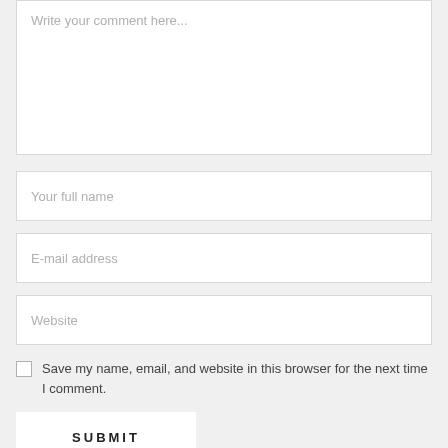Write your comment here...
Your full name
E-mail address
Website
Save my name, email, and website in this browser for the next time I comment.
SUBMIT